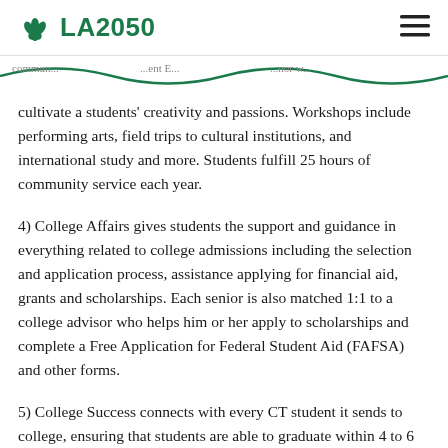LA2050
cultivate a students' creativity and passions. Workshops include performing arts, field trips to cultural institutions, and international study and more. Students fulfill 25 hours of community service each year.
4) College Affairs gives students the support and guidance in everything related to college admissions including the selection and application process, assistance applying for financial aid, grants and scholarships. Each senior is also matched 1:1 to a college advisor who helps him or her apply to scholarships and complete a Free Application for Federal Student Aid (FAFSA) and other forms.
5) College Success connects with every CT student it sends to college, ensuring that students are able to graduate within 4 to 6 years. CT provides academic guidance, transitional and emotional support, financial planning and awards, teaching self-advocacy, and tips on finding a community on campus. Each CT student has a 1-